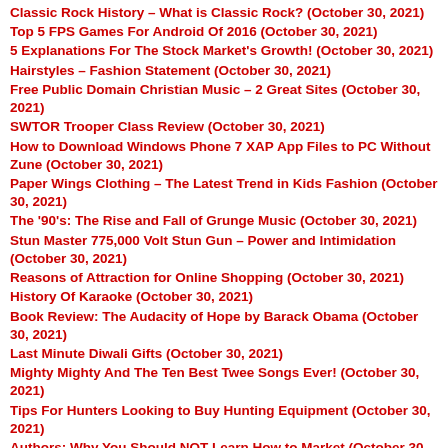Classic Rock History – What is Classic Rock? (October 30, 2021)
Top 5 FPS Games For Android Of 2016 (October 30, 2021)
5 Explanations For The Stock Market's Growth! (October 30, 2021)
Hairstyles – Fashion Statement (October 30, 2021)
Free Public Domain Christian Music – 2 Great Sites (October 30, 2021)
SWTOR Trooper Class Review (October 30, 2021)
How to Download Windows Phone 7 XAP App Files to PC Without Zune (October 30, 2021)
Paper Wings Clothing – The Latest Trend in Kids Fashion (October 30, 2021)
The '90's: The Rise and Fall of Grunge Music (October 30, 2021)
Stun Master 775,000 Volt Stun Gun – Power and Intimidation (October 30, 2021)
Reasons of Attraction for Online Shopping (October 30, 2021)
History Of Karaoke (October 30, 2021)
Book Review: The Audacity of Hope by Barack Obama (October 30, 2021)
Last Minute Diwali Gifts (October 30, 2021)
Mighty Mighty And The Ten Best Twee Songs Ever! (October 30, 2021)
Tips For Hunters Looking to Buy Hunting Equipment (October 30, 2021)
Authors: Why You Should NOT Learn How to Market (October 30, 2021)
Music and Suggestibility (October 30, 2021)